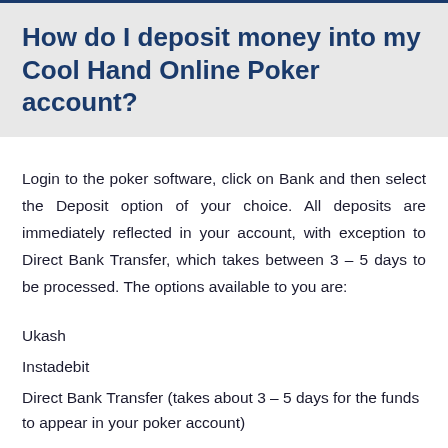How do I deposit money into my Cool Hand Online Poker account?
Login to the poker software, click on Bank and then select the Deposit option of your choice. All deposits are immediately reflected in your account, with exception to Direct Bank Transfer, which takes between 3 – 5 days to be processed. The options available to you are:
Ukash
Instadebit
Direct Bank Transfer (takes about 3 – 5 days for the funds to appear in your poker account)